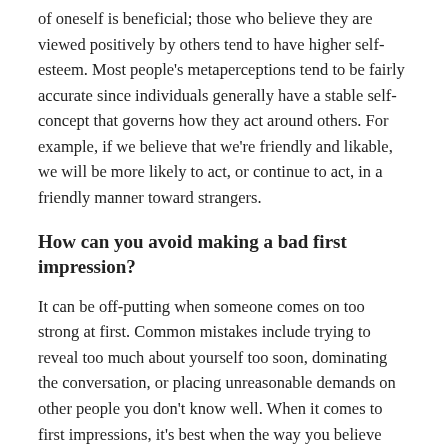of oneself is beneficial; those who believe they are viewed positively by others tend to have higher self-esteem. Most people's metaperceptions tend to be fairly accurate since individuals generally have a stable self-concept that governs how they act around others. For example, if we believe that we're friendly and likable, we will be more likely to act, or continue to act, in a friendly manner toward strangers.
How can you avoid making a bad first impression?
It can be off-putting when someone comes on too strong at first. Common mistakes include trying to reveal too much about yourself too soon, dominating the conversation, or placing unreasonable demands on other people you don't know well. When it comes to first impressions, it's best when the way you believe you are presenting yourself matches how others perceive you.